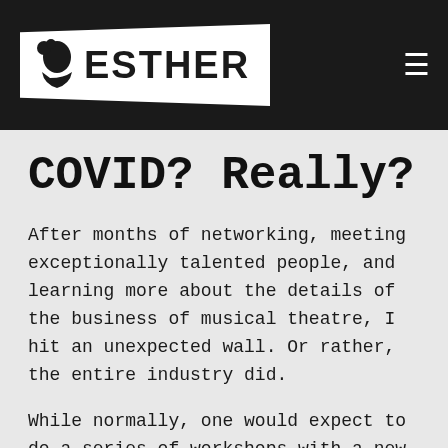[Figure (logo): ESTHER logo on dark header bar with silhouette icon and hamburger menu]
COVID? Really?
After months of networking, meeting exceptionally talented people, and learning more about the details of the business of musical theatre, I hit an unexpected wall. Or rather, the entire industry did.
While normally, one would expect to do a series of workshops with a new play, what is